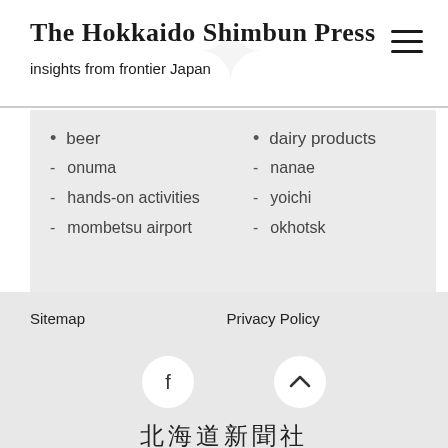The Hokkaido Shimbun Press
insights from frontier Japan
• beer
- onuma
- hands-on activities
- mombetsu airport
• dairy products
- nanae
- yoichi
- okhotsk
Sitemap    Privacy Policy
北海道新聞社